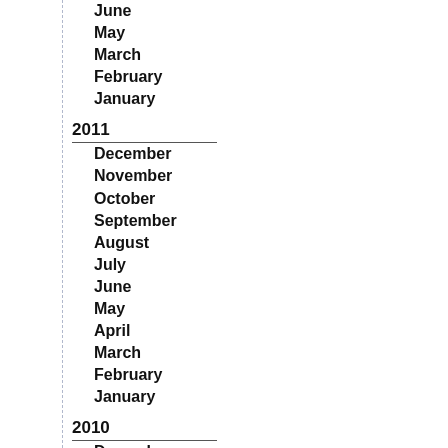June
May
March
February
January
2011
December
November
October
September
August
July
June
May
April
March
February
January
2010
December
November
October
September
August
July
June
May
April
March
February